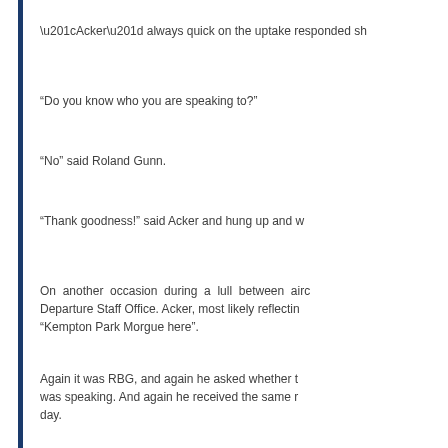“Acker” always quick on the uptake responded sh
“Do you know who you are speaking to?”
“No” said Roland Gunn.
“Thank goodness!” said Acker and hung up and w
On another occasion during a lull between airc Departure Staff Office. Acker, most likely reflectin “Kempton Park Morgue here”.
Again it was RBG, and again he asked whether t was speaking. And again he received the same r day.